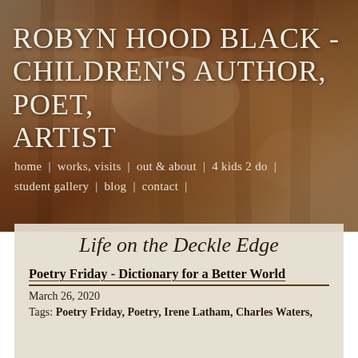[Figure (photo): Textured rusty-brown background image resembling aged paper or bark, used as the website header background.]
ROBYN HOOD BLACK - CHILDREN'S AUTHOR, POET, ARTIST
home | works, visits | out & about | 4 kids 2 do | student gallery | blog | contact |
Life on the Deckle Edge
Poetry Friday - Dictionary for a Better World
March 26, 2020
Tags: Poetry Friday, Poetry, Irene Latham, Charles Waters,